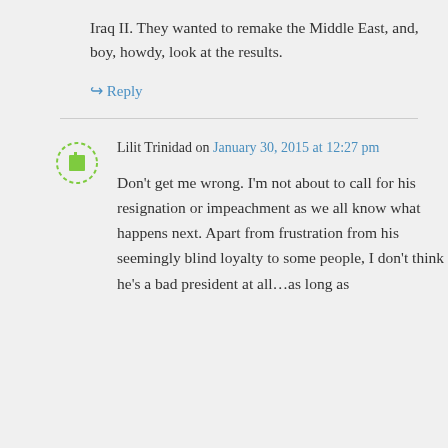Iraq II. They wanted to remake the Middle East, and, boy, howdy, look at the results.
↳ Reply
Lilit Trinidad on January 30, 2015 at 12:27 pm
Don't get me wrong. I'm not about to call for his resignation or impeachment as we all know what happens next. Apart from frustration from his seemingly blind loyalty to some people, I don't think he's a bad president at all…as long as